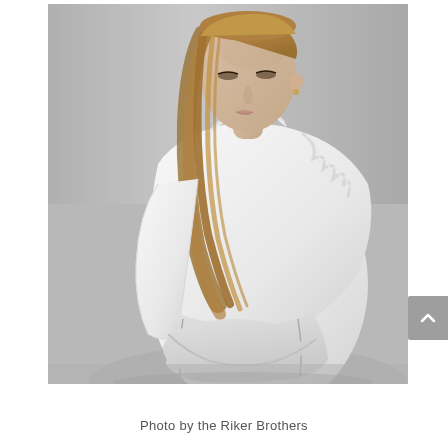[Figure (photo): A blonde woman wearing a white ruffled satin blouse and white trousers, seated against a grey background, photographed from a slightly elevated angle. The image is a fashion editorial photo.]
Photo by the Riker Brothers